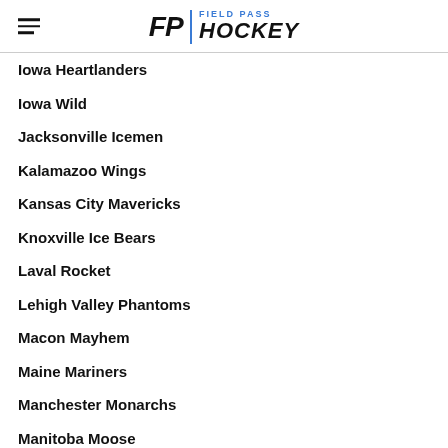[Figure (logo): Field Pass Hockey logo with hamburger menu icon on the left, FP text and 'FIELD PASS HOCKEY' branding in blue and black]
Iowa Heartlanders
Iowa Wild
Jacksonville Icemen
Kalamazoo Wings
Kansas City Mavericks
Knoxville Ice Bears
Laval Rocket
Lehigh Valley Phantoms
Macon Mayhem
Maine Mariners
Manchester Monarchs
Manitoba Moose